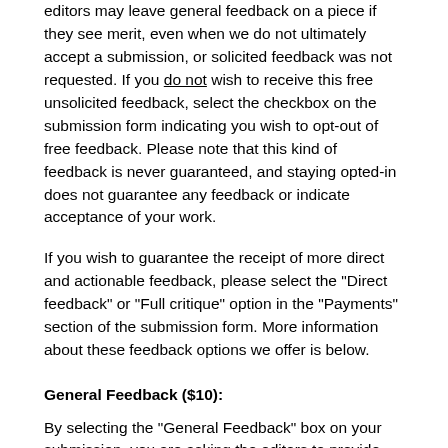editors may leave general feedback on a piece if they see merit, even when we do not ultimately accept a submission, or solicited feedback was not requested. If you do not wish to receive this free unsolicited feedback, select the checkbox on the submission form indicating you wish to opt-out of free feedback. Please note that this kind of feedback is never guaranteed, and staying opted-in does not guarantee any feedback or indicate acceptance of your work.
If you wish to guarantee the receipt of more direct and actionable feedback, please select the "Direct feedback" or "Full critique" option in the "Payments" section of the submission form. More information about these feedback options we offer is below.
General Feedback ($10):
By selecting the "General Feedback" box on your submission, you are asking the editors to provide you with a